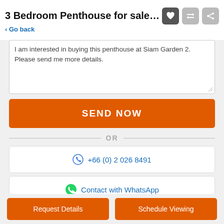3 Bedroom Penthouse for sale at Siam G...
< Go back
I am interested in buying this penthouse at Siam Garden 2. Please send me more details.
SEND NOW
OR
+66 (0) 2 026 8491
Contact with WhatsApp
Contact with Line
Request Details
Schedule Viewing